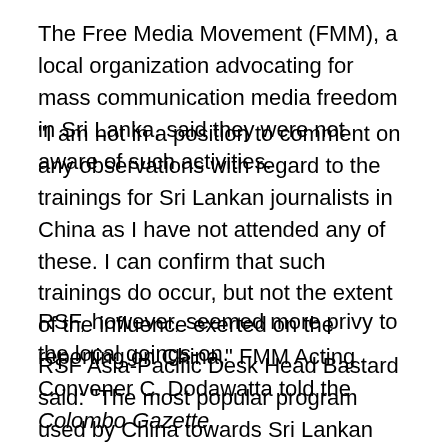The Free Media Movement (FMM), a local organization advocating for mass communication media freedom in Sri Lanka, said they were not aware of such activities.
“I am not in a position to comment on any observations with regard to the trainings for Sri Lankan journalists in China as I have not attended any of these. I can confirm that such trainings do occur, but not the extent of the influence exerted on the reporting on China,” FMM Acting Convener C. Dodawatta told the Colombo Gazette.
RSF, however, seemed more privy to the local goings-on.
RSF Asia-Pacific Desk Head Bastard said: “The most popular program used by China towards Sri Lankan journalists is called the ‘Red Carpet’ program. It is a yearly invitation in